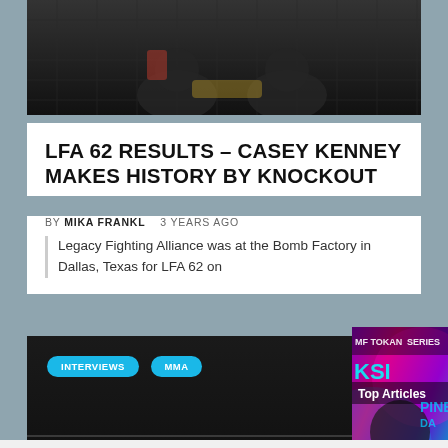[Figure (photo): Top portion of a sports photo showing two fighters with gloves, likely MMA fighters, against a dark background]
LFA 62 RESULTS – CASEY KENNEY MAKES HISTORY BY KNOCKOUT
BY MIKA FRANKL   3 YEARS AGO
Legacy Fighting Alliance was at the Bomb Factory in Dallas, Texas for LFA 62 on
[Figure (photo): Dark background with two blue tag buttons 'INTERVIEWS' and 'MMA', showing a fight scene below]
[Figure (photo): Video overlay panel showing KSI fighter image with colorful background, 'Top Articles' label, Duelbits branding, pause/mute controls, and arrow navigation. Text at bottom: KSI vs. Swarmz & Pineda LIVE]